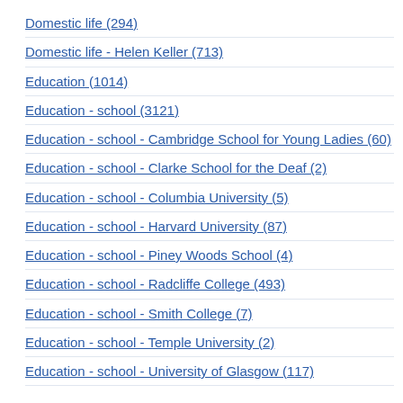Domestic life (294)
Domestic life - Helen Keller (713)
Education (1014)
Education - school (3121)
Education - school - Cambridge School for Young Ladies (60)
Education - school - Clarke School for the Deaf (2)
Education - school - Columbia University (5)
Education - school - Harvard University (87)
Education - school - Piney Woods School (4)
Education - school - Radcliffe College (493)
Education - school - Smith College (7)
Education - school - Temple University (2)
Education - school - University of Glasgow (117)